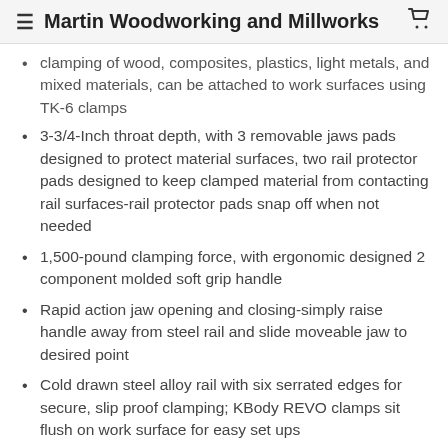≡ Martin Woodworking and Millworks 🛒
clamping of wood, composites, plastics, light metals, and mixed materials, can be attached to work surfaces using TK-6 clamps
3-3/4-Inch throat depth, with 3 removable jaws pads designed to protect material surfaces, two rail protector pads designed to keep clamped material from contacting rail surfaces-rail protector pads snap off when not needed
1,500-pound clamping force, with ergonomic designed 2 component molded soft grip handle
Rapid action jaw opening and closing-simply raise handle away from steel rail and slide moveable jaw to desired point
Cold drawn steel alloy rail with six serrated edges for secure, slip proof clamping; KBody REVO clamps sit flush on work surface for easy set ups
Binding: Tools & Home Improvement